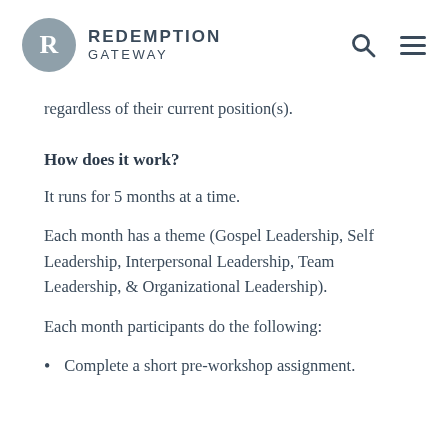REDEMPTION GATEWAY
regardless of their current position(s).
How does it work?
It runs for 5 months at a time.
Each month has a theme (Gospel Leadership, Self Leadership, Interpersonal Leadership, Team Leadership, & Organizational Leadership).
Each month participants do the following:
Complete a short pre-workshop assignment.